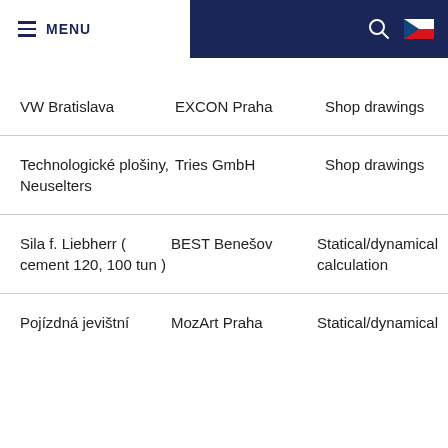MENU
| Project | Client | Type |
| --- | --- | --- |
| VW Bratislava | EXCON Praha | Shop drawings |
| Technologické plošiny, Neuselters | Tries GmbH | Shop drawings |
| Sila f. Liebherr ( cement 120, 100 tun ) | BEST Benešov | Statical/dynamical calculation |
| Pojízdná jevištní | MozArt Praha | Statical/dynamical |